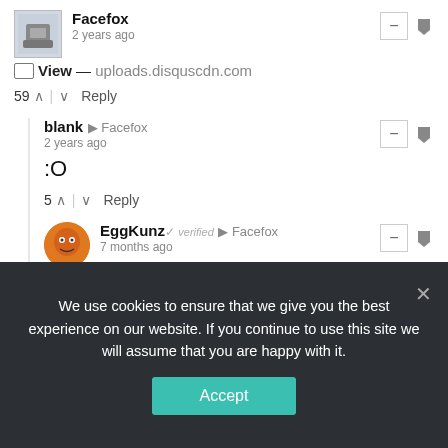Facefox · 2 years ago
View — uploads.disquscdn.com
59 ^ | v Reply
blank → Facefox · 2 years ago
:O
5 ^ | v Reply
EggKunz ✓ verified → Facefox · 7 months ago
Parks And Recreation Thats Funny GIF - Find & Share on GIPHY — disq.us
^ | v Reply
We use cookies to ensure that we give you the best experience on our website. If you continue to use this site we will assume that you are happy with it.
Accept